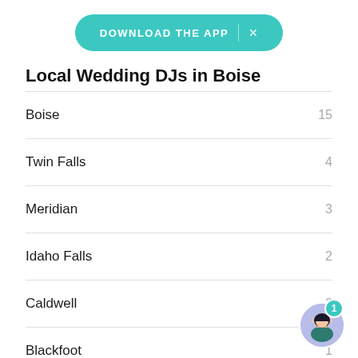[Figure (other): Teal pill-shaped banner button with text DOWNLOAD THE APP and an X close button]
Local Wedding DJs in Boise
Boise  15
Twin Falls  4
Meridian  3
Idaho Falls  2
Caldwell  2
Blackfoot  1
Show more
[Figure (illustration): Circular avatar of a woman with a teal notification badge showing 1]